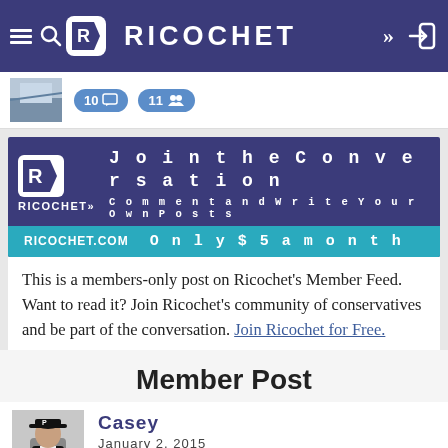RICOCHET
[Figure (screenshot): Post thumbnail with comment count badge (10) and member count badge (11)]
[Figure (infographic): Ricochet ad banner: Join the Conversation - Comment and Write Your Own Posts - Only $5 a month - ricochet.com]
This is a members-only post on Ricochet's Member Feed. Want to read it? Join Ricochet's community of conservatives and be part of the conversation. Join Ricochet for Free.
Member Post
[Figure (photo): Author avatar thumbnail labeled 'Misre.' showing person with hat]
Casey
January 2, 2015
10 comments, 4 members